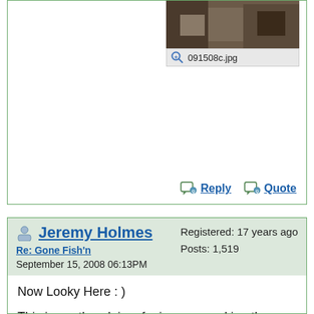[Figure (photo): Partial view of a photo thumbnail showing dark/brown objects, with caption '091508c.jpg' below it and a zoom icon]
Reply   Quote
Jeremy Holmes
Re: Gone Fish'n
September 15, 2008 06:13PM
Registered: 17 years ago
Posts: 1,519
Now Looky Here : )

This is another dairy of mine, on smoking the salmon.

I did this on another site a while back, anyhow it saves me a tonn of work tonight, Here's the link-

[www.fieldlines.com]

I was thinking about this earier, the maranade is actually 'honey-teriyaki' by KC Masterpiece (however they spell it, you'll recognize it in you the dish aisle store. But